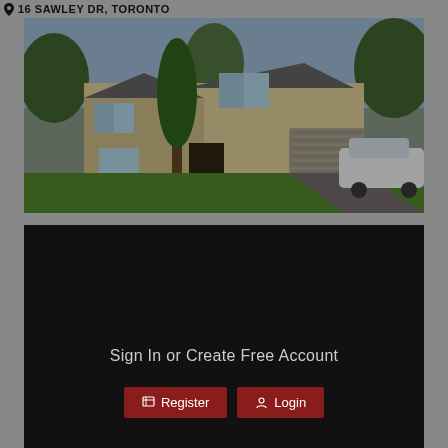16 SAWLEY DR, Toronto
[Figure (photo): Exterior photo of a residential house at 16 Sawley Dr, Toronto. Two-storey home with beige/brick facade, attached garage, white car parked in driveway, green lawn and trees in front.]
Sign In or Create Free Account
Register
Login